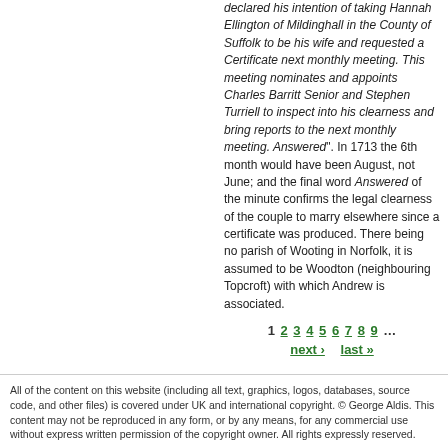declared his intention of taking Hannah Ellington of Mildinghall in the County of Suffolk to be his wife and requested a Certificate next monthly meeting. This meeting nominates and appoints Charles Barritt Senior and Stephen Turriell to inspect into his clearness and bring reports to the next monthly meeting. Answered". In 1713 the 6th month would have been August, not June; and the final word Answered of the minute confirms the legal clearness of the couple to marry elsewhere since a certificate was produced. There being no parish of Wooting in Norfolk, it is assumed to be Woodton (neighbouring Topcroft) with which Andrew is associated.
1 2 3 4 5 6 7 8 9 ... next › last »
All of the content on this website (including all text, graphics, logos, databases, source code, and other files) is covered under UK and international copyright. © George Aldis. This content may not be reproduced in any form, or by any means, for any commercial use without express written permission of the copyright owner. All rights expressly reserved.